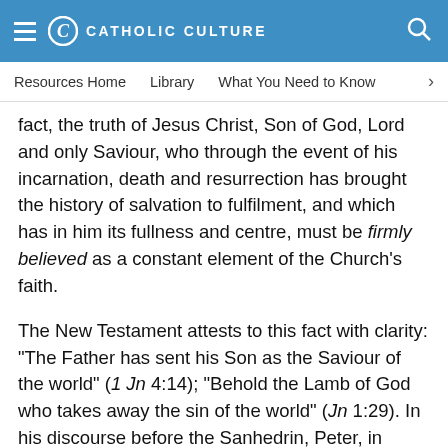CATHOLIC CULTURE
Resources Home   Library   What You Need to Know
fact, the truth of Jesus Christ, Son of God, Lord and only Saviour, who through the event of his incarnation, death and resurrection has brought the history of salvation to fulfilment, and which has in him its fullness and centre, must be firmly believed as a constant element of the Church's faith.
The New Testament attests to this fact with clarity: "The Father has sent his Son as the Saviour of the world" (1 Jn 4:14); "Behold the Lamb of God who takes away the sin of the world" (Jn 1:29). In his discourse before the Sanhedrin, Peter, in order to justify the healing of a man who was crippled from birth, which was done in the name of Jesus (cf. Acts 3:1-8), proclaims: "There is salvation in no one else, for there is no other name under heaven given among men by